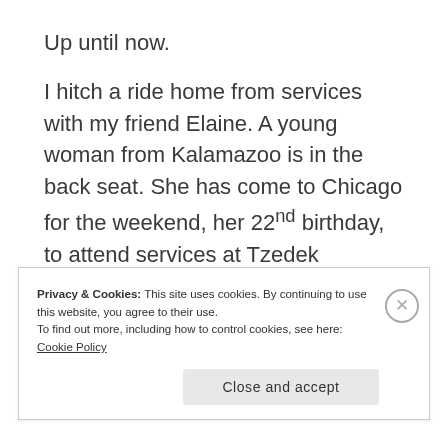Up until now.
I hitch a ride home from services with my friend Elaine. A young woman from Kalamazoo is in the back seat. She has come to Chicago for the weekend, her 22nd birthday, to attend services at Tzedek Chicago.
Privacy & Cookies: This site uses cookies. By continuing to use this website, you agree to their use.
To find out more, including how to control cookies, see here: Cookie Policy
Close and accept